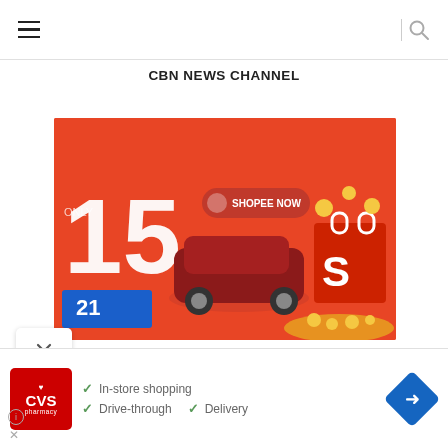CBN NEWS CHANNEL
[Figure (illustration): Orange/red promotional banner ad showing a car, shopping bag with 'S' logo, the number 15, and scattered coins/money elements on a vivid red-orange background]
[Figure (illustration): CVS Pharmacy advertisement banner showing CVS logo, checkmarks for In-store shopping, Drive-through, and Delivery, plus a blue map/directions diamond icon]